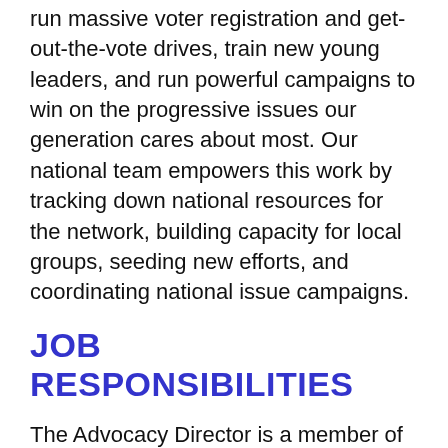run massive voter registration and get-out-the-vote drives, train new young leaders, and run powerful campaigns to win on the progressive issues our generation cares about most. Our national team empowers this work by tracking down national resources for the network, building capacity for local groups, seeding new efforts, and coordinating national issue campaigns.
JOB RESPONSIBILITIES
The Advocacy Director is a member of the Program Department and will coordinate with colleagues to support the Alliance Network advocacy and policy needs while building programmatic strategy across the Network. This is a new role at the Alliance that will be leading a democracy cohort in key states in our network by managing and supporting network advocacy staff as they scale their programming.